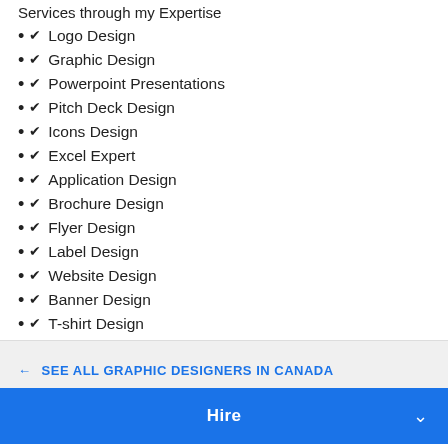Services through my Expertise
✔ Logo Design
✔ Graphic Design
✔ Powerpoint Presentations
✔ Pitch Deck Design
✔ Icons Design
✔ Excel Expert
✔ Application Design
✔ Brochure Design
✔ Flyer Design
✔ Label Design
✔ Website Design
✔ Banner Design
✔ T-shirt Design
✔ Stationary Design… more
← SEE ALL GRAPHIC DESIGNERS IN CANADA
Hire